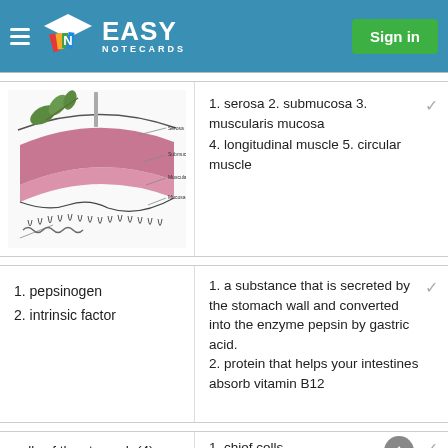EASY NOTECARDS | Sign in
[Figure (illustration): Anatomical diagram showing layers of the intestinal wall including serosa, submucosa, muscularis mucosa, longitudinal muscle, and circular muscle with labeled cross-section.]
1. serosa 2. submucosa 3. muscularis mucosa
4. longitudinal muscle 5. circular muscle
1. pepsinogen
2. intrinsic factor
1. a substance that is secreted by the stomach wall and converted into the enzyme pepsin by gastric acid.
2. protein that helps your intestines absorb vitamin B12
cells of the stomach (4)
1. chief cells
2. parietal cells